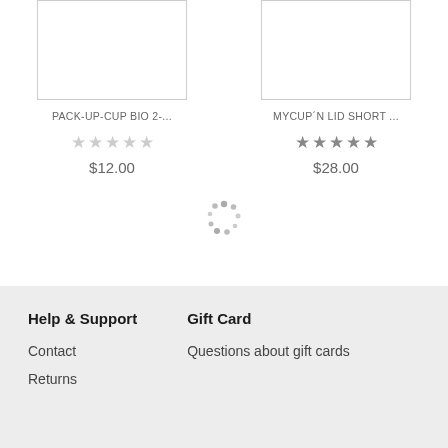[Figure (screenshot): Product card for PACK-UP-CUP BIO 2-... showing empty star rating and price $12.00]
[Figure (screenshot): Product card for MYCUP'N LID SHORT ... showing 5 filled stars and price $28.00]
[Figure (other): Loading spinner (circular dots)]
Help & Support
Gift Card
Contact
Questions about gift cards
Returns